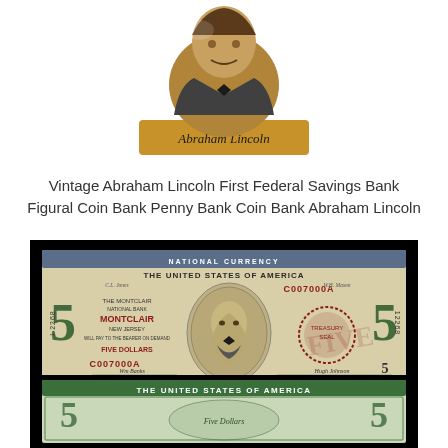[Figure (photo): Vintage Abraham Lincoln figural coin bank / bust sculpture with 'Abraham Lincoln' signature text on the base]
Vintage Abraham Lincoln First Federal Savings Bank Figural Coin Bank Penny Bank Coin Bank Abraham Lincoln
[Figure (photo): National Currency five dollar bill from The Montclair National Bank, Montclair New Jersey, serial number C007000A, charter number 12268]
[Figure (photo): Partial view of a United States of America five dollar bill, green color, showing the top portion with 'THE UNITED STATES OF AMERICA' text and the number 5 on sides]